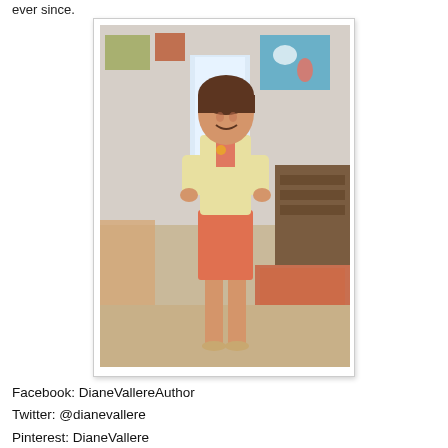ever since.
[Figure (photo): A woman wearing a yellow jacket and orange skirt standing in a room with colorful artwork on the wall behind her.]
Facebook: DianeVallereAuthor
Twitter: @dianevallere
Pinterest: DianeVallere